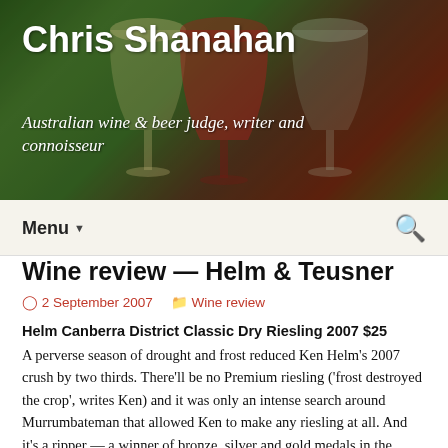Chris Shanahan
Australian wine & beer judge, writer and connoisseur
Menu
Wine review — Helm & Teusner
2 September 2007   Wine review
Helm Canberra District Classic Dry Riesling 2007 $25
A perverse season of drought and frost reduced Ken Helm's 2007 crush by two thirds. There'll be no Premium riesling ('frost destroyed the crop', writes Ken) and it was only an intense search around Murrumbateman that allowed Ken to make any riesling at all. And it's a ripper — a winner of bronze, silver and gold medals in the Winewise, Cowra and